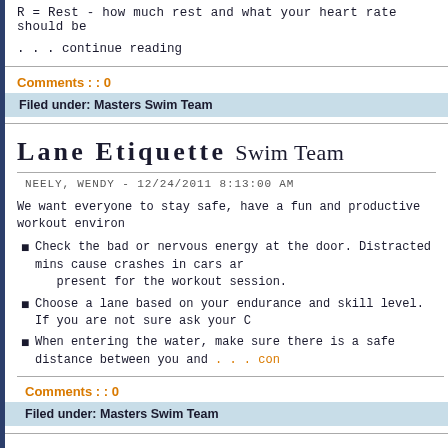R = Rest - how much rest and what your heart rate should be
. . . continue reading
Comments : : 0
Filed under: Masters Swim Team
Lane Etiquette Swim Team
NEELY, WENDY - 12/24/2011 8:13:00 AM
We want everyone to stay safe, have a fun and productive workout environ
Check the bad or nervous energy at the door. Distracted mins cause crashes in cars ar present for the workout session.
Choose a lane based on your endurance and skill level. If you are not sure ask your C
When entering the water, make sure there is a safe distance between you and . . . con
Comments : : 0
Filed under: Masters Swim Team
How Far Did I Swim Today? Lap Converter